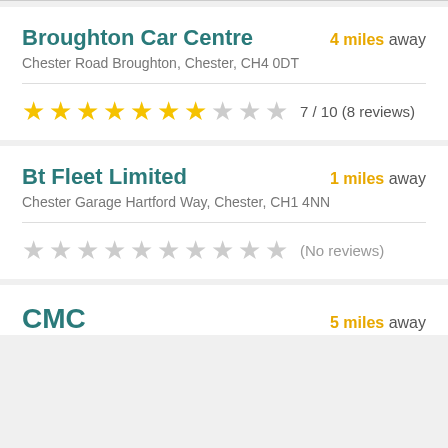Broughton Car Centre
4 miles away
Chester Road Broughton, Chester, CH4 0DT
7 / 10 (8 reviews)
Bt Fleet Limited
1 miles away
Chester Garage Hartford Way, Chester, CH1 4NN
(No reviews)
CMC
5 miles away